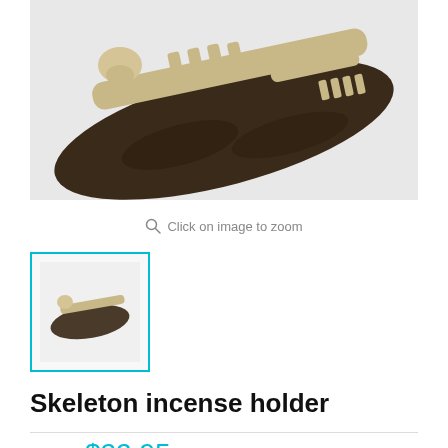[Figure (photo): A skeleton incense holder figurine — a dark brown resin sculpture of a skeletal figure lying on a log or branch, with ivory-colored bones visible, photographed against a white/grey background.]
Click on image to zoom
[Figure (photo): Small thumbnail image of the skeleton incense holder, showing the full product from a side angle against a white background.]
Skeleton incense holder
Price: $22.95